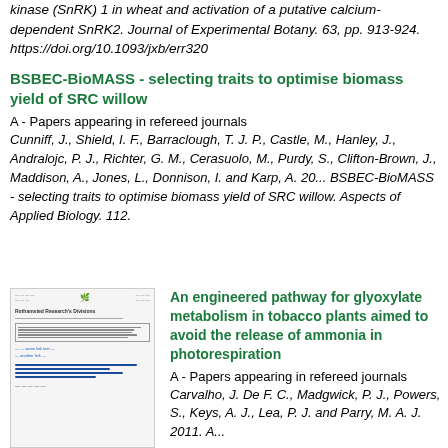kinase (SnRK) 1 in wheat and activation of a putative calcium-dependent SnRK2. Journal of Experimental Botany. 63, pp. 913-924. https://doi.org/10.1093/jxb/err320
BSBEC-BioMASS - selecting traits to optimise biomass yield of SRC willow
A - Papers appearing in refereed journals
Cunniff, J., Shield, I. F., Barraclough, T. J. P., Castle, M., Hanley, J., Andralojc, P. J., Richter, G. M., Cerasuolo, M., Purdy, S., Clifton-Brown, J., Maddison, A., Jones, L., Donnison, I. and Karp, A. 20... BSBEC-BioMASS - selecting traits to optimise biomass yield of SRC willow. Aspects of Applied Biology. 112.
[Figure (screenshot): Thumbnail of a research paper document page with text and blue underlined links.]
An engineered pathway for glyoxylate metabolism in tobacco plants aimed to avoid the release of ammonia in photorespiration
A - Papers appearing in refereed journals
Carvalho, J. De F. C., Madgwick, P. J., Powers, S., Keys, A. J., Lea, P. J. and Parry, M. A. J. 2011. A...